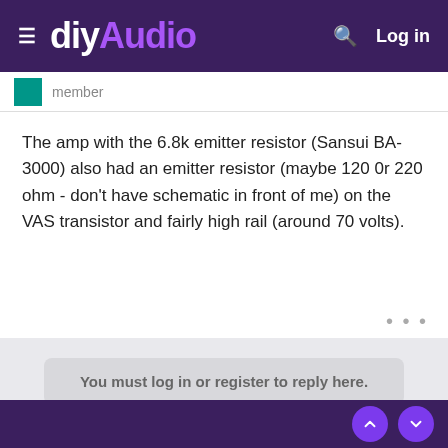diyAudio  Log in
member
The amp with the 6.8k emitter resistor (Sansui BA-3000) also had an emitter resistor (maybe 120 0r 220 ohm - don't have schematic in front of me) on the VAS transistor and fairly high rail (around 70 volts).
You must log in or register to reply here.
Share:
‹ Solid State